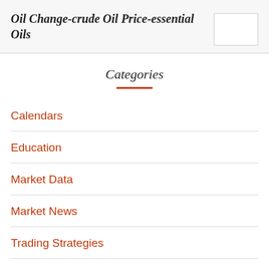Oil Change-crude Oil Price-essential Oils
Categories
Calendars
Education
Market Data
Market News
Trading Strategies
Meta